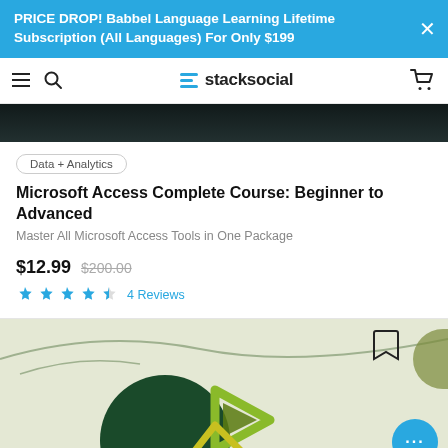PRICE DROP! Babbel Language Learning Lifetime Subscription (All Languages) For Only $199
stacksocial
[Figure (photo): Dark product image strip at top of product listing]
Data + Analytics
Microsoft Access Complete Course: Beginner to Advanced
Master All Microsoft Access Tools in One Package
$12.99  $200.00
4 Reviews
[Figure (illustration): Course thumbnail with dark green circle and yellow/green geometric arrow shapes on olive background]